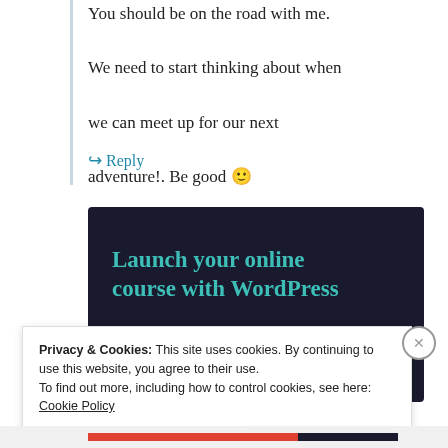You should be on the road with me. We need to start thinking about when we can meet up for our next adventure!. Be good 🙂
↪ Reply
[Figure (infographic): Dark navy advertisement banner with teal text reading 'Launch your online course with WordPress' and a teal rounded 'Learn More' button.]
Privacy & Cookies: This site uses cookies. By continuing to use this website, you agree to their use. To find out more, including how to control cookies, see here: Cookie Policy
Close and accept